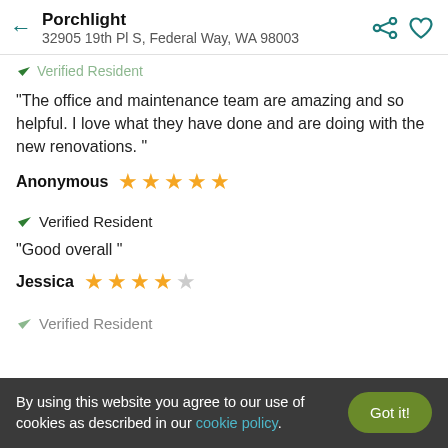Porchlight
32905 19th Pl S, Federal Way, WA 98003
✔ Verified Resident (partial, clipped at top)
"The office and maintenance team are amazing and so helpful. I love what they have done and are doing with the new renovations. "
Anonymous ★★★★★ (5 stars)
✔ Verified Resident
"Good overall "
Jessica ★★★★☆ (4 stars)
✔ Verified Resident (partial, clipped at bottom)
By using this website you agree to our use of cookies as described in our cookie policy.